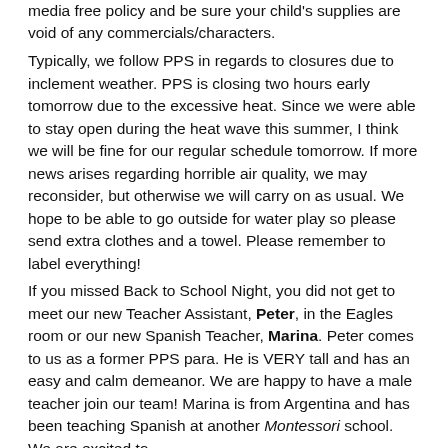media free policy and be sure your child's supplies are void of any commercials/characters. Typically, we follow PPS in regards to closures due to inclement weather. PPS is closing two hours early tomorrow due to the excessive heat. Since we were able to stay open during the heat wave this summer, I think we will be fine for our regular schedule tomorrow. If more news arises regarding horrible air quality, we may reconsider, but otherwise we will carry on as usual. We hope to be able to go outside for water play so please send extra clothes and a towel. Please remember to label everything! If you missed Back to School Night, you did not get to meet our new Teacher Assistant, Peter, in the Eagles room or our new Spanish Teacher, Marina. Peter comes to us as a former PPS para. He is VERY tall and has an easy and calm demeanor. We are happy to have a male teacher join our team! Marina is from Argentina and has been teaching Spanish at another Montessori school. We are excited to